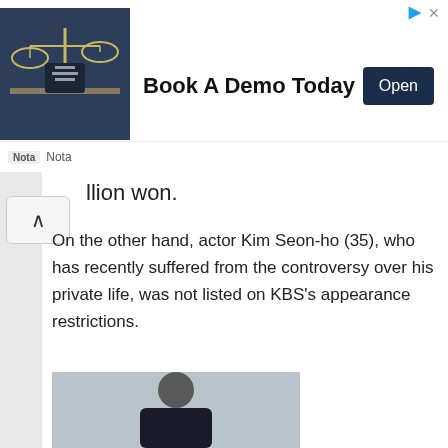[Figure (screenshot): Advertisement banner: image of scales of justice with person signing documents on the left, bold text 'Book A Demo Today' in center, dark navy 'Open' button on right. Nota branding below.]
llion won.
On the other hand, actor Kim Seon-ho (35), who has recently suffered from the controversy over his private life, was not listed on KBS's appearance restrictions.
[Figure (photo): Portrait photo of a young Asian man with dark hair wearing a black turtleneck sweater, against a light grey background.]